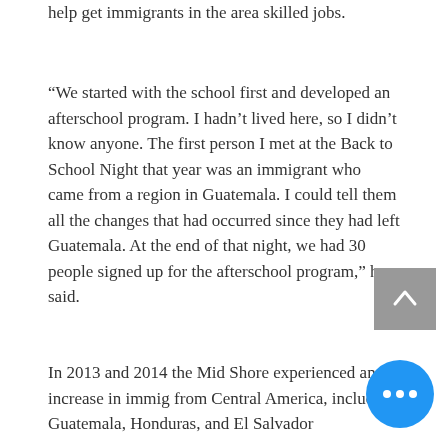help get immigrants in the area skilled jobs.
“We started with the school first and developed an afterschool program. I hadn’t lived here, so I didn’t know anyone. The first person I met at the Back to School Night that year was an immigrant who came from a region in Guatemala. I could tell them all the changes that had occurred since they had left Guatemala. At the end of that night, we had 30 people signed up for the afterschool program,” he said.
In 2013 and 2014 the Mid Shore experienced an increase in immig... from Central America, including Guatemala, Honduras, and El Salvador